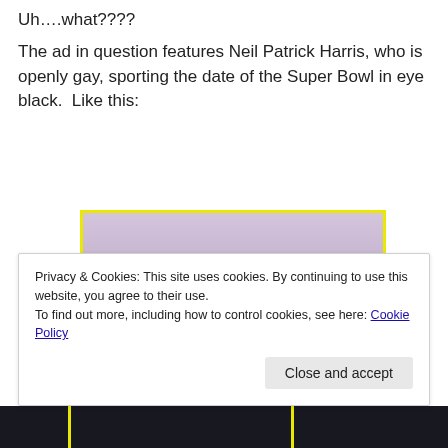Uh….what????
The ad in question features Neil Patrick Harris, who is openly gay, sporting the date of the Super Bowl in eye black.  Like this:
[Figure (photo): Close-up photo of a man's eyes with eyebrows, appearing to have eye black markings under the eyes, rendered with a purple/mauve tint. Yellow border around the image.]
Privacy & Cookies: This site uses cookies. By continuing to use this website, you agree to their use.
To find out more, including how to control cookies, see here: Cookie Policy
Close and accept